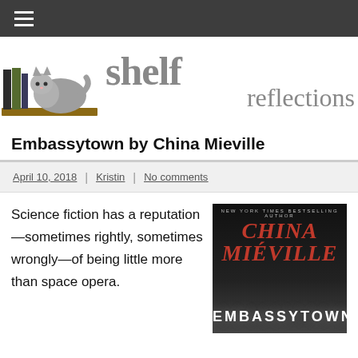≡ (navigation bar)
[Figure (logo): Shelf Reflections blog logo: a cartoon cat sleeping on a bookshelf next to stacked books, with the text 'shelf reflections' in large grey serif font]
Embassytown by China Mieville
April 10, 2018 | Kristin | No comments
Science fiction has a reputation—sometimes rightly, sometimes wrongly—of being little more than space opera.
[Figure (photo): Book cover of Embassytown by China Miéville. Dark background with author name in large red italic letters and title EMBASSYTOWN in large white letters at the bottom. Top reads 'New York Times Bestselling Author'.]